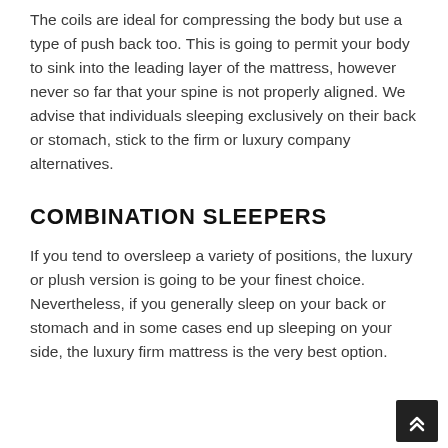The coils are ideal for compressing the body but use a type of push back too. This is going to permit your body to sink into the leading layer of the mattress, however never so far that your spine is not properly aligned. We advise that individuals sleeping exclusively on their back or stomach, stick to the firm or luxury company alternatives.
COMBINATION SLEEPERS
If you tend to oversleep a variety of positions, the luxury or plush version is going to be your finest choice. Nevertheless, if you generally sleep on your back or stomach and in some cases end up sleeping on your side, the luxury firm mattress is the very best option.
When...